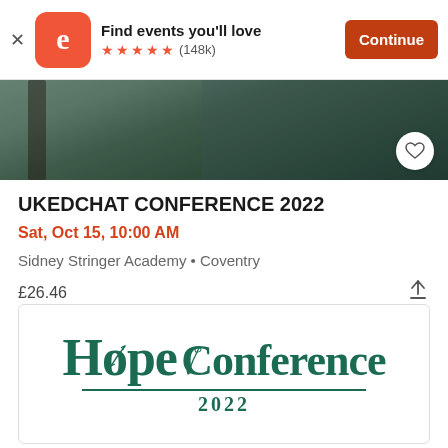[Figure (screenshot): Eventbrite app banner with logo, 'Find events you’ll love' text, 5-star rating (148k), and Continue button]
[Figure (photo): Photo of a building exterior, partially visible, with tree in foreground. Heart/favorite button in bottom right corner.]
UKEDCHAT CONFERENCE 2022
Sat, Oct 15, 10:00 AM
Sidney Stringer Academy • Coventry
£26.46
[Figure (logo): Hope Conference 2022 logo in dark green serif font with decorative feather/arrow element through the letter 'o' in Hope and 'C' in Conference]